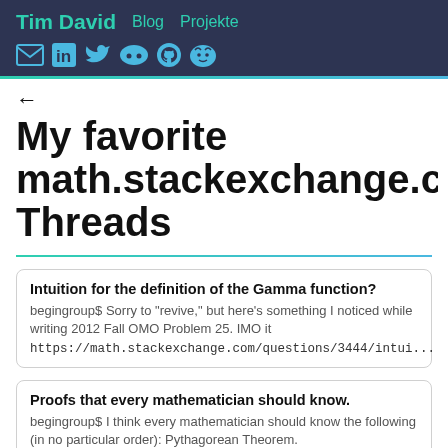Tim David  Blog  Projekte
←
My favorite math.stackexchange.co Threads
Intuition for the definition of the Gamma function?
begingroup$ Sorry to "revive," but here's something I noticed while writing 2012 Fall OMO Problem 25. IMO it
https://math.stackexchange.com/questions/3444/intui...
Proofs that every mathematician should know.
begingroup$ I think every mathematician should know the following (in no particular order): Pythagorean Theorem.